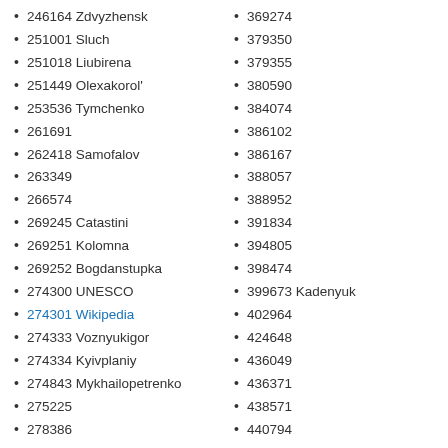246164 Zdvyzhensk
251001 Sluch
251018 Liubirena
251449 Olexakorol'
253536 Tymchenko
261691
262418 Samofalov
263349
266574
269245 Catastini
269251 Kolomna
269252 Bogdanstupka
274300 UNESCO
274301 Wikipedia
274333 Voznyukigor
274334 Kyivplaniy
274843 Mykhailopetrenko
275225
278386
278609 Avrudenko
278645 Kontsevych
281459 Kyrylenko
284754
369274
379350
379355
380590
384074
386102
386167
388057
388952
391834
394805
398474
399673 Kadenyuk
402964
424648
436049
436371
438571
440794
456963
485152
490218
543580